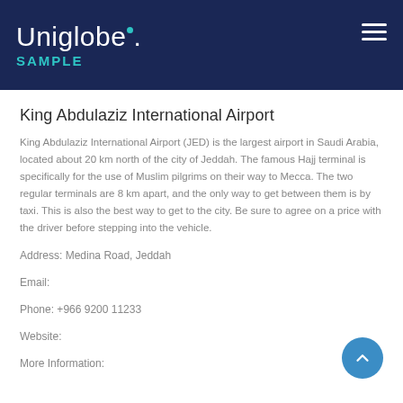Uniglobe. SAMPLE
King Abdulaziz International Airport
King Abdulaziz International Airport (JED) is the largest airport in Saudi Arabia, located about 20 km north of the city of Jeddah. The famous Hajj terminal is specifically for the use of Muslim pilgrims on their way to Mecca. The two regular terminals are 8 km apart, and the only way to get between them is by taxi. This is also the best way to get to the city. Be sure to agree on a price with the driver before stepping into the vehicle.
Address: Medina Road, Jeddah
Email:
Phone: +966 9200 11233
Website:
More Information: